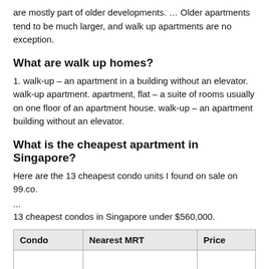are mostly part of older developments. … Older apartments tend to be much larger, and walk up apartments are no exception.
What are walk up homes?
1. walk-up – an apartment in a building without an elevator. walk-up apartment. apartment, flat – a suite of rooms usually on one floor of an apartment house. walk-up – an apartment building without an elevator.
What is the cheapest apartment in Singapore?
Here are the 13 cheapest condo units I found on sale on 99.co.
...
13 cheapest condos in Singapore under $560,000.
| Condo | Nearest MRT | Price |
| --- | --- | --- |
|  |  |  |